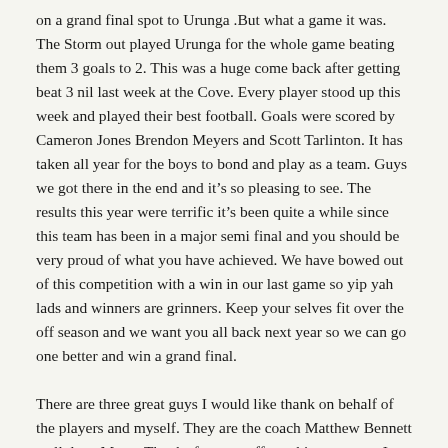on a grand final spot to Urunga .But what a game it was. The Storm out played Urunga for the whole game beating them 3 goals to 2. This was a huge come back after getting beat 3 nil last week at the Cove. Every player stood up this week and played their best football. Goals were scored by Cameron Jones Brendon Meyers and Scott Tarlinton. It has taken all year for the boys to bond and play as a team. Guys we got there in the end and it's so pleasing to see. The results this year were terrific it's been quite a while since this team has been in a major semi final and you should be very proud of what you have achieved. We have bowed out of this competition with a win in our last game so yip yah lads and winners are grinners. Keep your selves fit over the off season and we want you all back next year so we can go one better and win a grand final.
There are three great guys I would like thank on behalf of the players and myself. They are the coach Matthew Bennett well done Matty. Thanks for your efforts this year mate I know it's been hard with your young family and to give up your time to be with the boys is a huge effort mate. Jade Porter what can I say